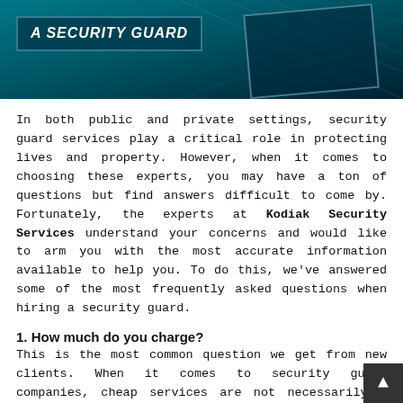[Figure (illustration): Header banner with teal/dark blue gradient background, white bold italic text reading 'A SECURITY GUARD' in a bordered box on the left, and a dark framed graphic panel on the right]
In both public and private settings, security guard services play a critical role in protecting lives and property. However, when it comes to choosing these experts, you may have a ton of questions but find answers difficult to come by. Fortunately, the experts at Kodiak Security Services understand your concerns and would like to arm you with the most accurate information available to help you. To do this, we've answered some of the most frequently asked questions when hiring a security guard.
1. How much do you charge?
This is the most common question we get from new clients. When it comes to security guard companies, cheap services are not necessarily a good deal. The fact is, companies with super-low rates often provide low quality services. For the protection of your building